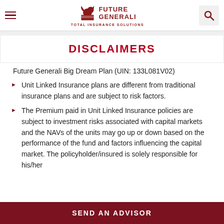Future Generali Total Insurance Solutions
DISCLAIMERS
Future Generali Big Dream Plan (UIN: 133L081V02)
Unit Linked Insurance plans are different from traditional insurance plans and are subject to risk factors.
The Premium paid in Unit Linked Insurance policies are subject to investment risks associated with capital markets and the NAVs of the units may go up or down based on the performance of the fund and factors influencing the capital market. The policyholder/insured is solely responsible for his/her
SEND AN ADVISOR